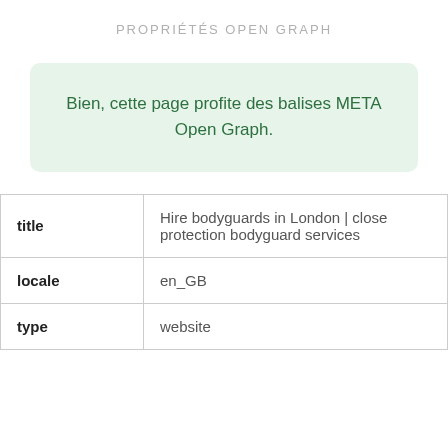PROPRIÉTÉS OPEN GRAPH
Bien, cette page profite des balises META Open Graph.
| title | Hire bodyguards in London | close protection bodyguard services |
| locale | en_GB |
| type | website |